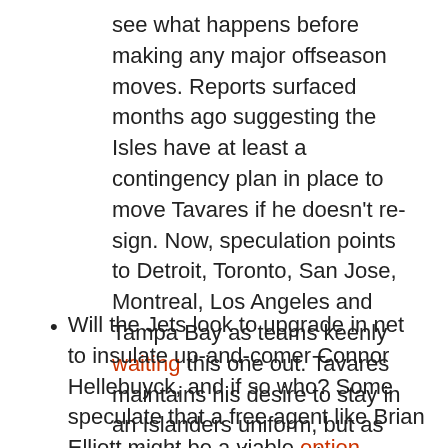see what happens before making any major offseason moves. Reports surfaced months ago suggesting the Isles have at least a contingency plan in place to move Tavares if he doesn't re-sign. Now, speculation points to Detroit, Toronto, San Jose, Montreal, Los Angeles and Tampa Bay as teams keenly waiting this one out. Tavares maintains his desire to stay in an Islanders uniform, but as with all negotiations, it's not done until it's signed, sealed and delivered.
Will the Jets look to upgrade in net to insulate up-and-comer Connor Hellebuyck, and if so who? Some speculate that a free agent like Brian Elliott might be a viable option. Certainly, Elliott performed well for St. Louis in a tandem with